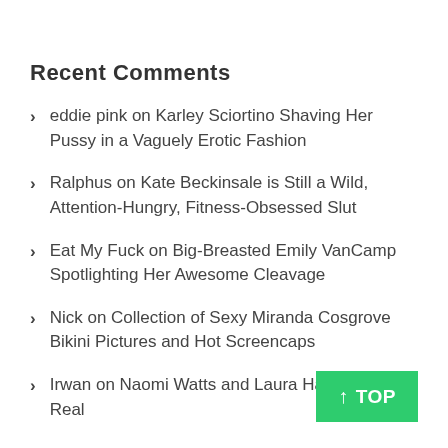Recent Comments
eddie pink on Karley Sciortino Shaving Her Pussy in a Vaguely Erotic Fashion
Ralphus on Kate Beckinsale is Still a Wild, Attention-Hungry, Fitness-Obsessed Slut
Eat My Fuck on Big-Breasted Emily VanCamp Spotlighting Her Awesome Cleavage
Nick on Collection of Sexy Miranda Cosgrove Bikini Pictures and Hot Screencaps
Irwan on Naomi Watts and Laura Harring Get Real